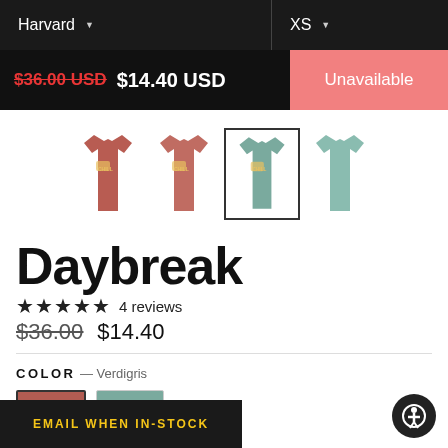Harvard (dropdown) | XS (dropdown)
$36.00 USD  $14.40 USD  Unavailable
[Figure (photo): Four children's t-shirts shown as product thumbnails: two terracotta/salmon colored shirts and two sage/verdigris colored shirts. One verdigris shirt is selected with a border.]
Daybreak
★★★★★ 4 reviews
$36.00  $14.40
COLOR — Verdigris
[Figure (photo): Two color swatches: terracotta/salmon on the left with a selection border, and verdigris/sage on the right.]
EMAIL WHEN IN-STOCK